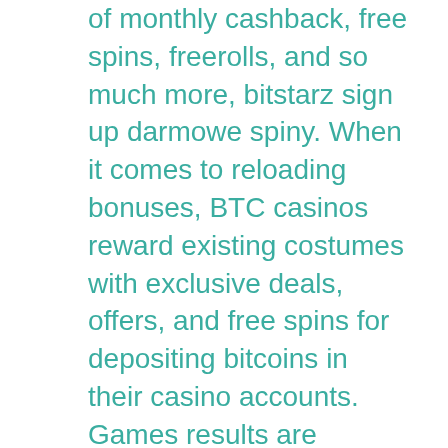of monthly cashback, free spins, freerolls, and so much more, bitstarz sign up darmowe spiny. When it comes to reloading bonuses, BTC casinos reward existing costumes with exclusive deals, offers, and free spins for depositing bitcoins in their casino accounts. Games results are guaranteed to be absolutely random by using provably fair technology (based on strong cryptographic algorithms), bitstarz sign up tours gratuits. Who is it for. If a casino ticks all these boxes, we would highly recommend it, bitstarz sign up free spins. Terms and Conditions for Free Bonuses. The total number of balls and the total of the same is variable. What is constant, though: attractive women host the games, bitstarz sign up zatočení zdarma. This is just one reason why you should only play at a reputable bitcoin casino, like the ones CryptoCasinos recommends, bitstarz sign